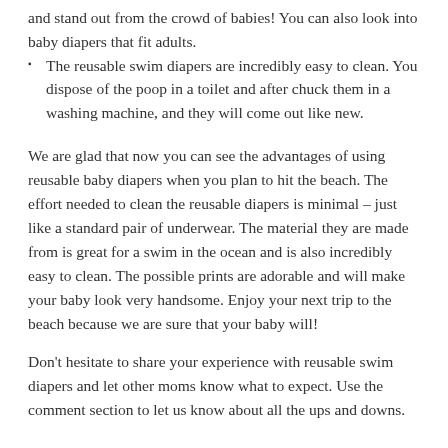and stand out from the crowd of babies! You can also look into baby diapers that fit adults.
The reusable swim diapers are incredibly easy to clean. You dispose of the poop in a toilet and after chuck them in a washing machine, and they will come out like new.
We are glad that now you can see the advantages of using reusable baby diapers when you plan to hit the beach. The effort needed to clean the reusable diapers is minimal – just like a standard pair of underwear. The material they are made from is great for a swim in the ocean and is also incredibly easy to clean. The possible prints are adorable and will make your baby look very handsome. Enjoy your next trip to the beach because we are sure that your baby will!
Don't hesitate to share your experience with reusable swim diapers and let other moms know what to expect. Use the comment section to let us know about all the ups and downs.